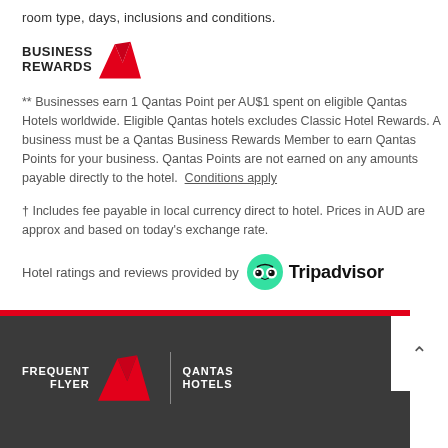room type, days, inclusions and conditions.
[Figure (logo): Qantas Business Rewards logo with kangaroo icon]
** Businesses earn 1 Qantas Point per AU$1 spent on eligible Qantas Hotels worldwide. Eligible Qantas hotels excludes Classic Hotel Rewards. A business must be a Qantas Business Rewards Member to earn Qantas Points for your business. Qantas Points are not earned on any amounts payable directly to the hotel. Conditions apply
† Includes fee payable in local currency direct to hotel. Prices in AUD are approx and based on today's exchange rate.
Hotel ratings and reviews provided by Tripadvisor
[Figure (logo): Qantas Frequent Flyer / Qantas Hotels footer logo]